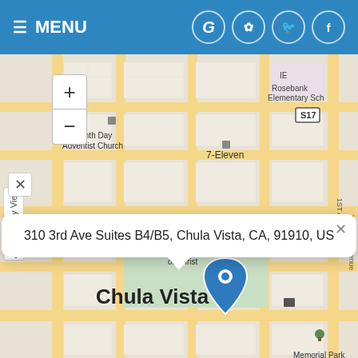MENU
[Figure (map): Street map of Chula Vista, CA showing location at 310 3rd Ave Suites B4/B5 with a blue pin marker. Map shows Seventh Day Adventist Church, 7-Eleven, First Church of Christ, Norman Park, Memorial Park, Rosebank Elementary School, S17 road sign, and G Street label. Map includes zoom in/out controls and accessibility view toggle.]
310 3rd Ave Suites B4/B5, Chula Vista, CA, 91910, US